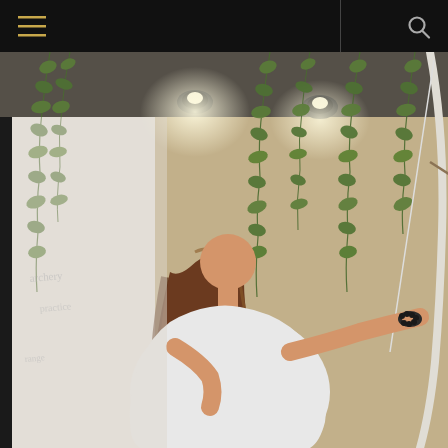Navigation bar with menu and search icons
[Figure (photo): A woman with long brown hair practicing archery indoors. She is drawing a bow aimed at a circular archery target (blue, red, yellow rings) on a burlap mat. The indoor range is decorated with hanging green ivy vines on the walls and ceiling, with spot lighting overhead. The woman wears a white sleeveless top and a beaded bracelet.]